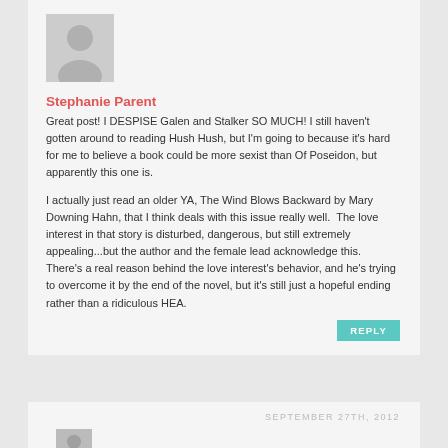[Figure (illustration): Gray avatar placeholder icon showing a person silhouette]
Stephanie Parent
Great post! I DESPISE Galen and Stalker SO MUCH! I still haven't gotten around to reading Hush Hush, but I'm going to because it's hard for me to believe a book could be more sexist than Of Poseidon, but apparently this one is.
I actually just read an older YA, The Wind Blows Backward by Mary Downing Hahn, that I think deals with this issue really well.  The love interest in that story is disturbed, dangerous, but still extremely appealing...but the author and the female lead acknowledge this.  There's a real reason behind the love interest's behavior, and he's trying to overcome it by the end of the novel, but it's still just a hopeful ending rather than a ridiculous HEA.
REPLY
SEPTEMBER 27TH, 2012
[Figure (illustration): Gray avatar placeholder icon showing a person silhouette]